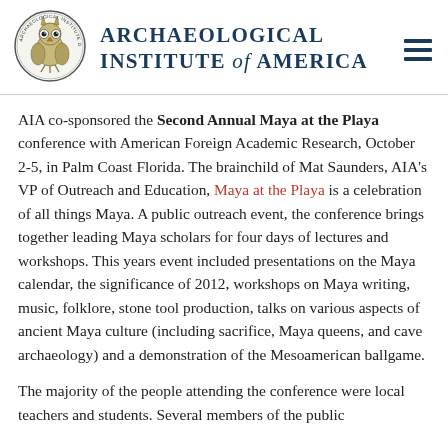Archaeological Institute of America
AIA co-sponsored the Second Annual Maya at the Playa conference with American Foreign Academic Research, October 2-5, in Palm Coast Florida. The brainchild of Mat Saunders, AIA's VP of Outreach and Education, Maya at the Playa is a celebration of all things Maya. A public outreach event, the conference brings together leading Maya scholars for four days of lectures and workshops. This years event included presentations on the Maya calendar, the significance of 2012, workshops on Maya writing, music, folklore, stone tool production, talks on various aspects of ancient Maya culture (including sacrifice, Maya queens, and cave archaeology) and a demonstration of the Mesoamerican ballgame.
The majority of the people attending the conference were local teachers and students. Several members of the public